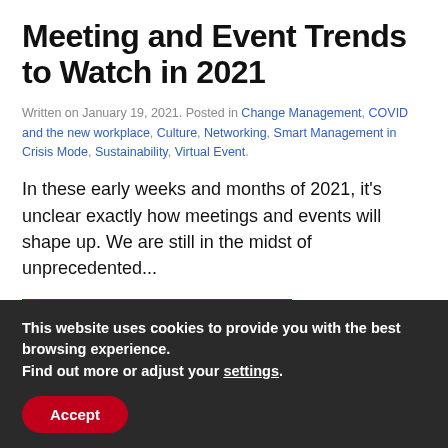Meeting and Event Trends to Watch in 2021
Written on January 19, 2021. Posted in Change Management, COVID and the new workplace, Culture, Networking, Smart Management in Crisis Mode, Sustainability, Virtual Event.
In these early weeks and months of 2021, it's unclear exactly how meetings and events will shape up. We are still in the midst of unprecedented...
CONTINUE READING
This website uses cookies to provide you with the best browsing experience.
Find out more or adjust your settings.
Accept